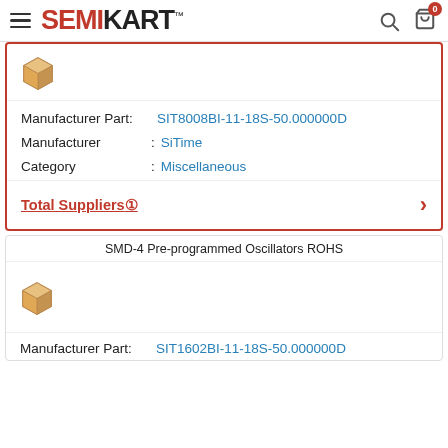SEMIKART
[Figure (illustration): Box/package icon for product]
| Manufacturer Part: | SIT8008BI-11-18S-50.000000D |
| Manufacturer | SiTime |
| Category | Miscellaneous |
Total Suppliers①
SMD-4 Pre-programmed Oscillators ROHS
[Figure (illustration): Box/package icon for second product]
Manufacturer Part: SIT1602BI-11-18S-50.000000D